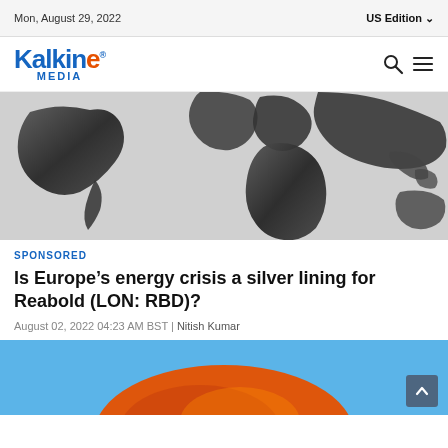Mon, August 29, 2022 | US Edition
[Figure (logo): Kalkine Media logo with blue text and orange E]
[Figure (map): Black and white world map showing continents]
SPONSORED
Is Europe's energy crisis a silver lining for Reabold (LON: RBD)?
August 02, 2022 04:23 AM BST | Nitish Kumar
[Figure (illustration): Orange dome/barrel illustration on blue background]